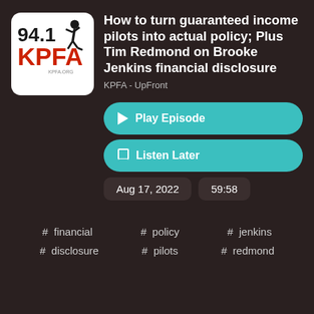[Figure (logo): KPFA 94.1 radio station logo with running figure]
How to turn guaranteed income pilots into actual policy; Plus Tim Redmond on Brooke Jenkins financial disclosure
KPFA - UpFront
▶ Play Episode
🔖 Listen Later
Aug 17, 2022
59:58
# financial
# policy
# jenkins
# disclosure
# pilots
# redmond